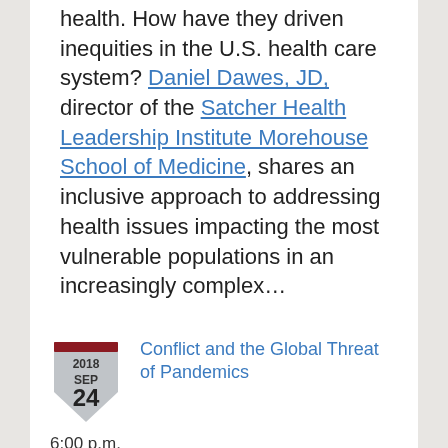health. How have they driven inequities in the U.S. health care system? Daniel Dawes, JD, director of the Satcher Health Leadership Institute Morehouse School of Medicine, shares an inclusive approach to addressing health issues impacting the most vulnerable populations in an increasingly complex…
[Figure (other): Shield-shaped calendar icon with dark red top bar, showing '2018 SEP 24']
Conflict and the Global Threat of Pandemics
6:00 p.m.